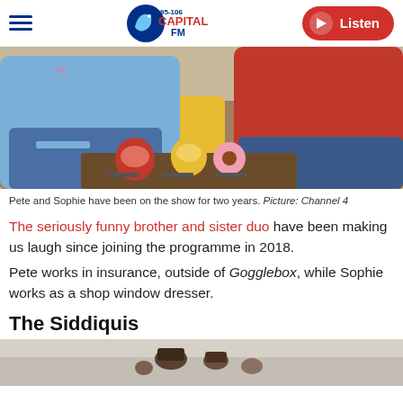95-106 Capital FM — Listen
[Figure (photo): Pete and Sophie sitting on a couch with novelty mugs on a table in front of them]
Pete and Sophie have been on the show for two years. Picture: Channel 4
The seriously funny brother and sister duo have been making us laugh since joining the programme in 2018.
Pete works in insurance, outside of Gogglebox, while Sophie works as a shop window dresser.
The Siddiquis
[Figure (photo): Partial image of the Siddiquis — bottom portion cut off]